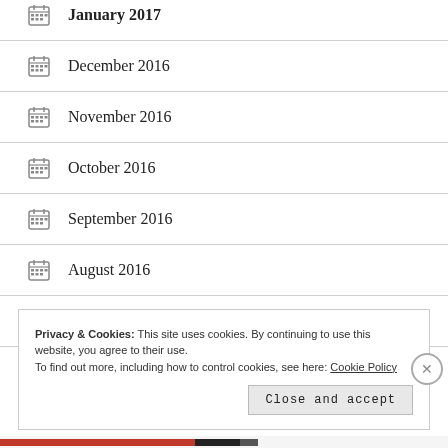January 2017
December 2016
November 2016
October 2016
September 2016
August 2016
July 2016
Privacy & Cookies: This site uses cookies. By continuing to use this website, you agree to their use.
To find out more, including how to control cookies, see here: Cookie Policy
Close and accept